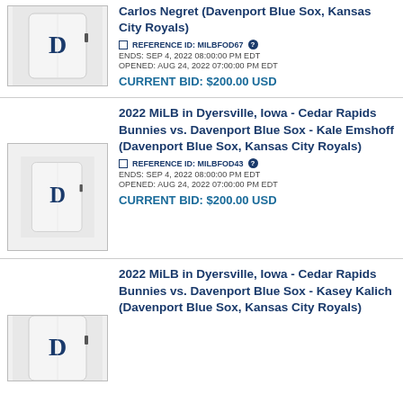[Figure (photo): White baseball jersey with blue D logo]
Carlos Negret (Davenport Blue Sox, Kansas City Royals)
REFERENCE ID: MILBFOD67
ENDS: SEP 4, 2022 08:00:00 PM EDT
OPENED: AUG 24, 2022 07:00:00 PM EDT
CURRENT BID: $200.00 USD
[Figure (photo): White baseball jersey with blue D logo]
2022 MiLB in Dyersville, Iowa - Cedar Rapids Bunnies vs. Davenport Blue Sox - Kale Emshoff (Davenport Blue Sox, Kansas City Royals)
REFERENCE ID: MILBFOD43
ENDS: SEP 4, 2022 08:00:00 PM EDT
OPENED: AUG 24, 2022 07:00:00 PM EDT
CURRENT BID: $200.00 USD
[Figure (photo): White baseball jersey with blue D logo]
2022 MiLB in Dyersville, Iowa - Cedar Rapids Bunnies vs. Davenport Blue Sox - Kasey Kalich (Davenport Blue Sox, Kansas City Royals)